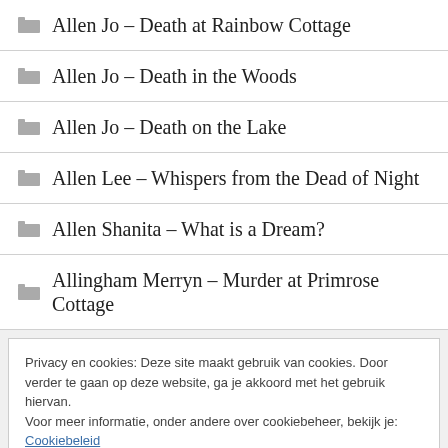Allen Jo – Death at Rainbow Cottage
Allen Jo – Death in the Woods
Allen Jo – Death on the Lake
Allen Lee – Whispers from the Dead of Night
Allen Shanita – What is a Dream?
Allingham Merryn – Murder at Primrose Cottage
Privacy en cookies: Deze site maakt gebruik van cookies. Door verder te gaan op deze website, ga je akkoord met het gebruik hiervan. Voor meer informatie, onder andere over cookiebeheer, bekijk je: Cookiebeleid
Sluiten en bevestigen